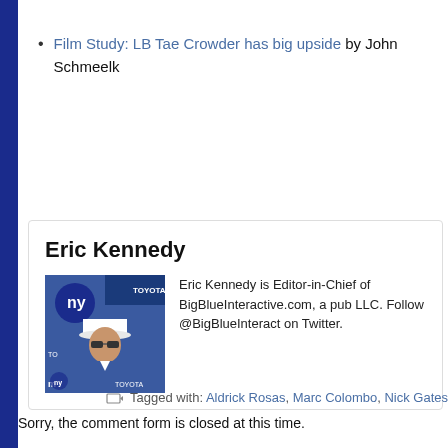Film Study: LB Tae Crowder has big upside by John Schmeelk
Eric Kennedy
Eric Kennedy is Editor-in-Chief of BigBlueInteractive.com, a pub LLC. Follow @BigBlueInteract on Twitter.
Tagged with: Aldrick Rosas, Marc Colombo, Nick Gates
Sorry, the comment form is closed at this time.